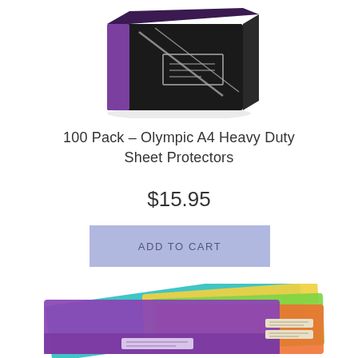[Figure (photo): Product photo of 100 Pack Olympic A4 Heavy Duty Sheet Protectors box, dark/black and purple packaging, partial top view]
100 Pack – Olympic A4 Heavy Duty Sheet Protectors
$15.95
ADD TO CART
[Figure (photo): Product photo of colorful document folders/wallets in teal, purple, yellow, green, orange colors stacked together]